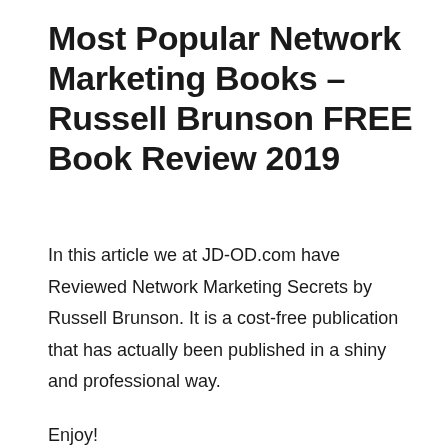Most Popular Network Marketing Books – Russell Brunson FREE Book Review 2019
In this article we at JD-OD.com have Reviewed Network Marketing Secrets by Russell Brunson. It is a cost-free publication that has actually been published in a shiny and professional way.
Enjoy!